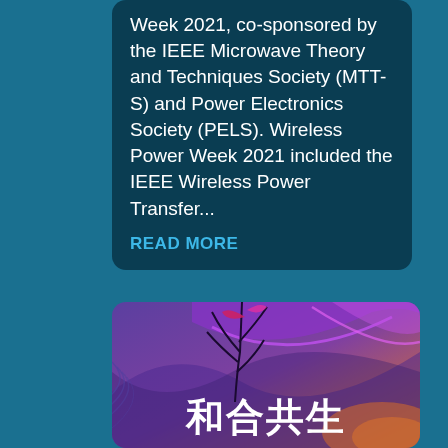Week 2021, co-sponsored by the IEEE Microwave Theory and Techniques Society (MTT-S) and Power Electronics Society (PELS). Wireless Power Week 2021 included the IEEE Wireless Power Transfer...
READ MORE
[Figure (illustration): Colorful illustrated banner with purple and orange gradient background, dark plant silhouettes, and large white Chinese characters 和合共生 (harmony and coexistence)]